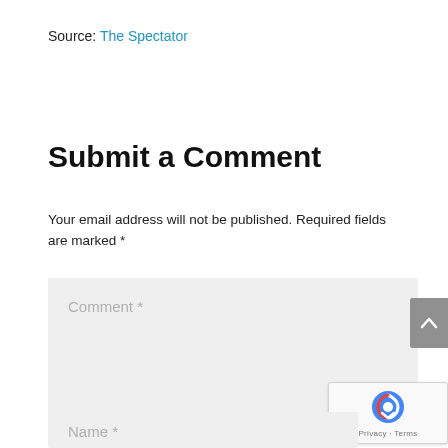Source: The Spectator
Submit a Comment
Your email address will not be published. Required fields are marked *
Comment *
Name *